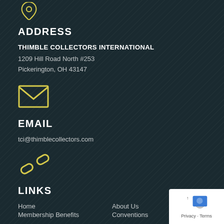[Figure (illustration): Yellow map pin / location icon (partially cropped at top)]
ADDRESS
THIMBLE COLLECTORS INTERNATIONAL
1209 Hill Road North #253
Pickerington, OH 43147
[Figure (illustration): Yellow envelope / email icon]
EMAIL
tci@thimblecollectors.com
[Figure (illustration): Yellow chain link / hyperlink icon]
LINKS
Home
About Us
Membership Benefits
Conventions